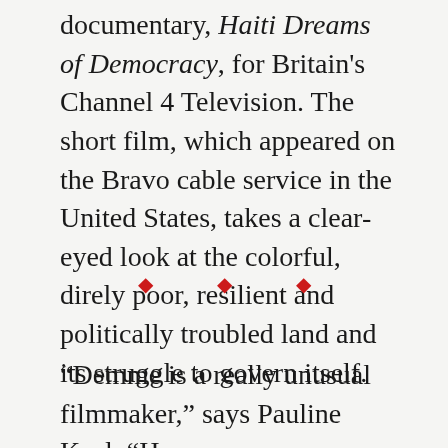documentary, Haiti Dreams of Democracy, for Britain's Channel 4 Television. The short film, which appeared on the Bravo cable service in the United States, takes a clear-eyed look at the colorful, direly poor, resilient and politically troubled land and its struggle to govern itself.
[Figure (other): Three red diamond/bullet decorative dividers centered on the page]
“Demme is a really unusual filmmaker,” says Pauline Kael. “He